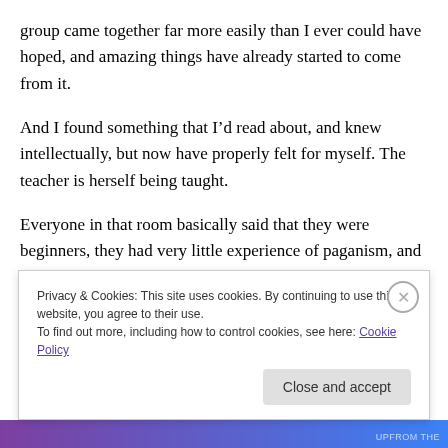group came together far more easily than I ever could have hoped, and amazing things have already started to come from it.
And I found something that I’d read about, and knew intellectually, but now have properly felt for myself. The teacher is herself being taught.
Everyone in that room basically said that they were beginners, they had very little experience of paganism, and certainly not Druidry. But every one brought their own
Privacy & Cookies: This site uses cookies. By continuing to use this website, you agree to their use.
To find out more, including how to control cookies, see here: Cookie Policy
Close and accept